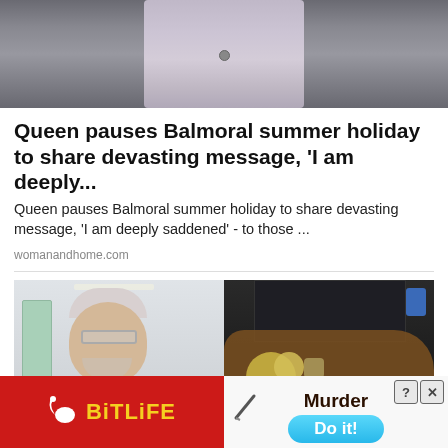[Figure (photo): Top portion of a person wearing a light grey/beige suit jacket, photo cropped to show torso area only, dark background]
Queen pauses Balmoral summer holiday to share devasting message, 'I am deeply...
Queen pauses Balmoral summer holiday to share devasting message, 'I am deeply saddened' - to those ...
womanandhome.com
[Figure (photo): Split image: left side shows an elderly male doctor with glasses and beige suit in a hospital corridor; right side shows a close-up of teeth/dental work with a blue dental tool]
[Figure (infographic): Advertisement banner: left side red background with BitLife logo (yellow text, sperm icon); right side white background with 'Murder' text, 'Do it!' blue button, and close/question mark buttons]